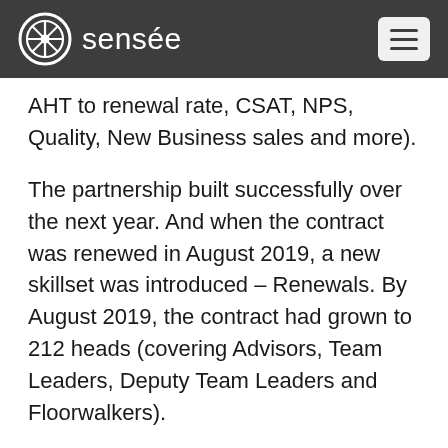sensée
AHT to renewal rate, CSAT, NPS, Quality, New Business sales and more).
The partnership built successfully over the next year. And when the contract was renewed in August 2019, a new skillset was introduced – Renewals. By August 2019, the contract had grown to 212 heads (covering Advisors, Team Leaders, Deputy Team Leaders and Floorwalkers).
Over the next 12 months the Sensée team continued to overcome challenges